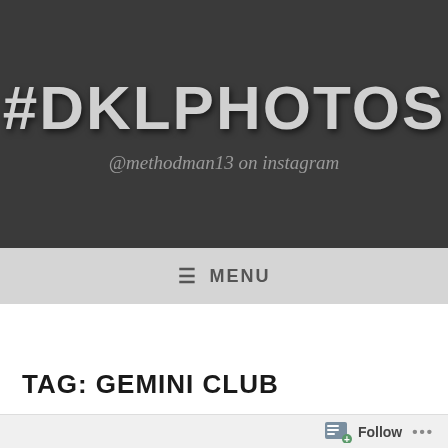#DKLPHOTOS
@methodman13 on instagram
≡ MENU
TAG: GEMINI CLUB
Follow ...